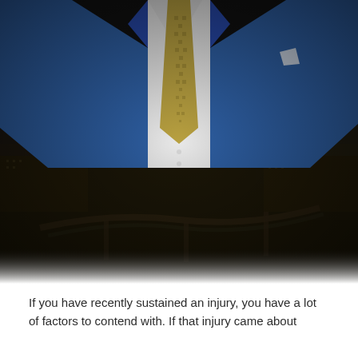[Figure (photo): Professional photo of a man in a blue suit with a gold patterned tie, white shirt, set against a dark cityscape background with buildings and overpasses visible in the lower half of the image.]
If you have recently sustained an injury, you have a lot of factors to contend with. If that injury came about